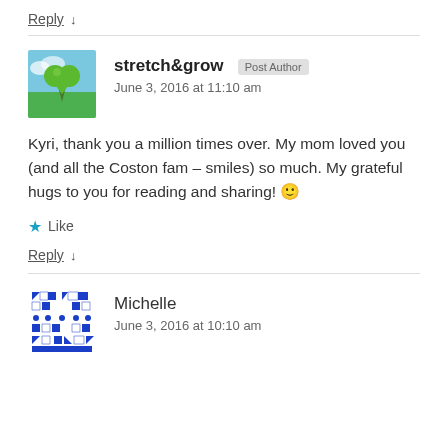Reply ↓
stretch&grow  Post Author
June 3, 2016 at 11:10 am
Kyri, thank you a million times over. My mom loved you (and all the Coston fam – smiles) so much. My grateful hugs to you for reading and sharing! 🙂
★ Like
Reply ↓
Michelle
June 3, 2016 at 10:10 am